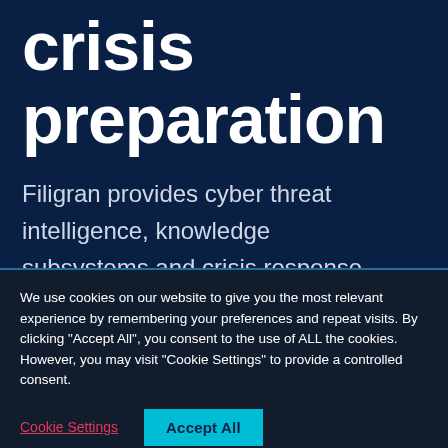crisis preparation
Filigran provides cyber threat intelligence, knowledge subsystems and crisis response
We use cookies on our website to give you the most relevant experience by remembering your preferences and repeat visits. By clicking "Accept All", you consent to the use of ALL the cookies. However, you may visit "Cookie Settings" to provide a controlled consent.
Cookie Settings  Accept All